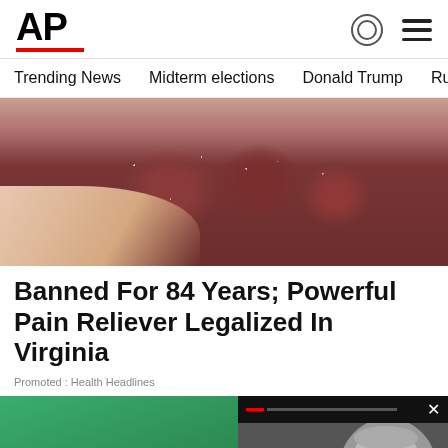AP
Trending News   Midterm elections   Donald Trump   Russia-Ukr
[Figure (photo): Close-up photo of sugared red gummy candies held in a hand]
Banned For 84 Years; Powerful Pain Reliever Legalized In Virginia
Promoted : Health Headlines
[Figure (photo): Close-up photo of a smiling woman with braided hair on a green background]
[Figure (screenshot): Video overlay showing a man with glasses (Barr) with caption: Russia probe memo wrongly withheld under Barr, court ...]